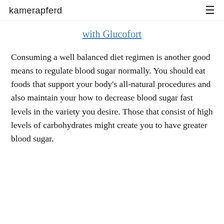kamerapferd
with Glucofort
Consuming a well balanced diet regimen is another good means to regulate blood sugar normally. You should eat foods that support your body’s all-natural procedures and also maintain your how to decrease blood sugar fast levels in the variety you desire. Those that consist of high levels of carbohydrates might create you to have greater blood sugar.